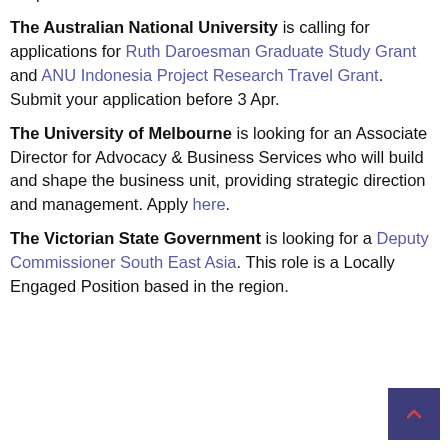personal interests. More info here.
The Australian National University is calling for applications for Ruth Daroesman Graduate Study Grant and ANU Indonesia Project Research Travel Grant. Submit your application before 3 Apr.
The University of Melbourne is looking for an Associate Director for Advocacy & Business Services who will build and shape the business unit, providing strategic direction and management. Apply here.
The Victorian State Government is looking for a Deputy Commissioner South East Asia. This role is a Locally Engaged Position based in the region.